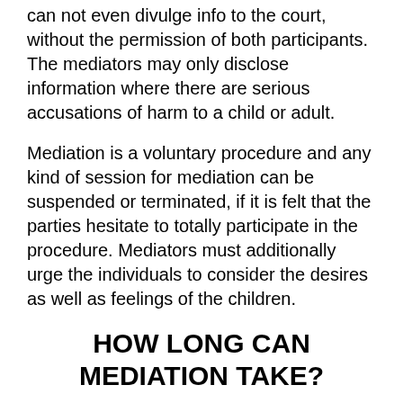can not even divulge info to the court, without the permission of both participants. The mediators may only disclose information where there are serious accusations of harm to a child or adult.
Mediation is a voluntary procedure and any kind of session for mediation can be suspended or terminated, if it is felt that the parties hesitate to totally participate in the procedure. Mediators must additionally urge the individuals to consider the desires as well as feelings of the children.
HOW LONG CAN MEDIATION TAKE?
Mediation can continue while it satisfies the